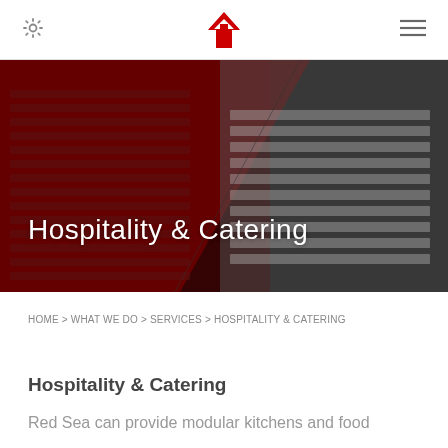⚙ [Logo] ≡
[Figure (photo): Aerial/overhead view of modular camp buildings, split diagonally — left half tinted red/dark red, right half in black and white. Text overlay reads 'Hospitality & Catering'.]
HOME > WHAT WE DO > SERVICES > HOSPITALITY & CATERING
Hospitality & Catering
Red Sea can provide modular kitchens and food